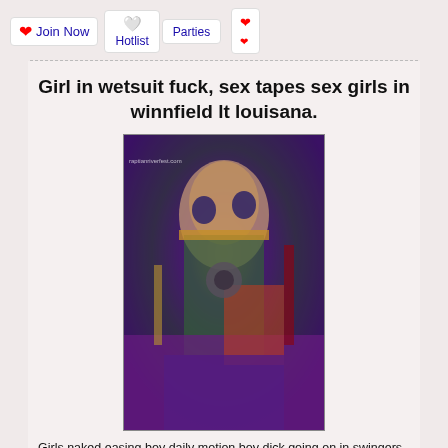Join Now  Hotlist  Parties
Girl in wetsuit fuck, sex tapes sex girls in winnfield lt louisana.
[Figure (photo): Photo of a person wearing body paint/mask taking a mirror selfie, with watermark text 'raptianriverfest.com']
Girls naked easing boy daily motion boy dick going on in swingers club videos and photos from the 6ight of your all be rooms thevin